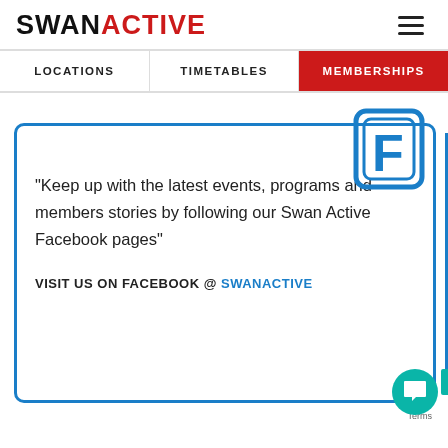SWANACTIVE
LOCATIONS | TIMETABLES | MEMBERSHIPS
“Keep up with the latest events, programs and members stories by following our Swan Active Facebook pages”
VISIT US ON FACEBOOK @ SWANACTIVE
[Figure (logo): Facebook stylized F logo in blue outline on white background]
[Figure (illustration): Interakt chat bubble icon — teal circle with white speech bubble]